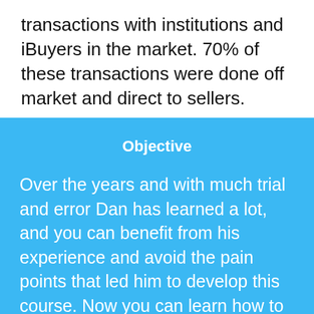transactions with institutions and iBuyers in the market. 70% of these transactions were done off market and direct to sellers.
Objective
Over the years and with much trial and error Dan has learned a lot, and you can benefit from his experience and avoid the pain points that led him to develop this course. Now you can learn how to adapt in this new market and use the iBuyer as a tool to compliment and grow your business.